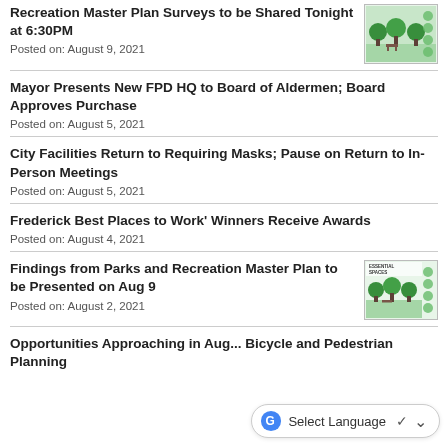Recreation Master Plan Surveys to be Shared Tonight at 6:30PM
Posted on: August 9, 2021
Mayor Presents New FPD HQ to Board of Aldermen; Board Approves Purchase
Posted on: August 5, 2021
City Facilities Return to Requiring Masks; Pause on Return to In-Person Meetings
Posted on: August 5, 2021
Frederick Best Places to Work' Winners Receive Awards
Posted on: August 4, 2021
Findings from Parks and Recreation Master Plan to be Presented on Aug 9
Posted on: August 2, 2021
Opportunities Approaching in Aug... Bicycle and Pedestrian Planning